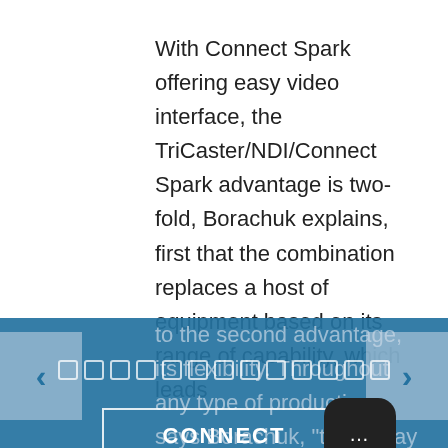With Connect Spark offering easy video interface, the TriCaster/NDI/Connect Spark advantage is two-fold, Borachuk explains, first that the combination replaces a host of equipment based on its range of capability, which leads to the second advantage, its flexibility. Throughout any type of production, says Borachuk, "there may be some element that would really elevate the essence of the story and the message that's
[Figure (screenshot): Blue overlay panel with dot navigation indicators, left/right carousel arrows, a CONNECT button, and a chat bubble icon]